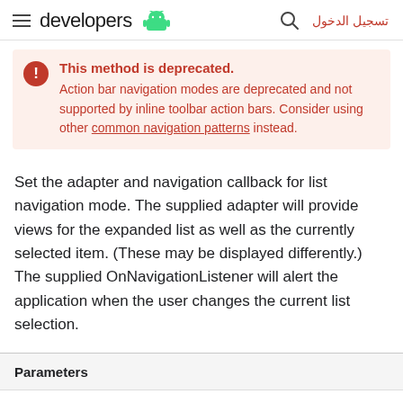developers — Android | تسجيل الدخول
This method is deprecated. Action bar navigation modes are deprecated and not supported by inline toolbar action bars. Consider using other common navigation patterns instead.
Set the adapter and navigation callback for list navigation mode. The supplied adapter will provide views for the expanded list as well as the currently selected item. (These may be displayed differently.) The supplied OnNavigationListener will alert the application when the user changes the current list selection.
Parameters